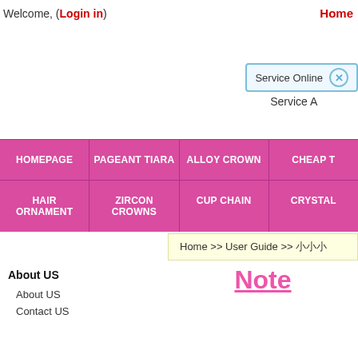Welcome, (Login in)  Home
[Figure (screenshot): Service Online button with X close icon and Service A label below]
HOMEPAGE | PAGEANT TIARA | ALLOY CROWN | CHEAP T
HAIR ORNAMENT | ZIRCON CROWNS | CUP CHAIN | CRYSTAL
Home >> User Guide >> 小小小
About US
About US
Contact US
Note